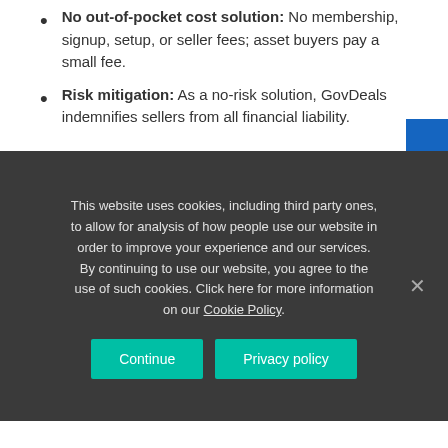No out-of-pocket cost solution: No membership, signup, setup, or seller fees; asset buyers pay a small fee.
Risk mitigation: As a no-risk solution, GovDeals indemnifies sellers from all financial liability.
This website uses cookies, including third party ones, to allow for analysis of how people use our website in order to improve your experience and our services. By continuing to use our website, you agree to the use of such cookies. Click here for more information on our Cookie Policy.